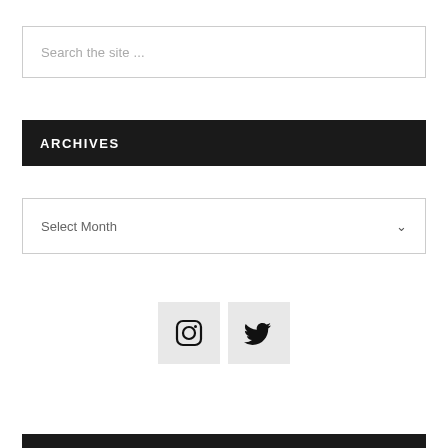Search the site ...
ARCHIVES
Select Month
[Figure (other): Instagram and Twitter social media icon buttons in light gray square boxes]